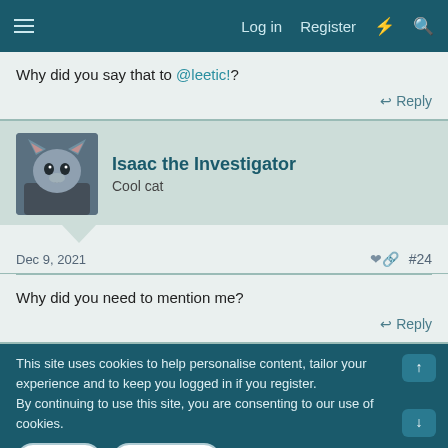Log in | Register
Why did you say that to @leetic!?
↩ Reply
Isaac the Investigator
Cool cat
Dec 9, 2021  #24
Why did you need to mention me?
↩ Reply
This site uses cookies to help personalise content, tailor your experience and to keep you logged in if you register.
By continuing to use this site, you are consenting to our use of cookies.